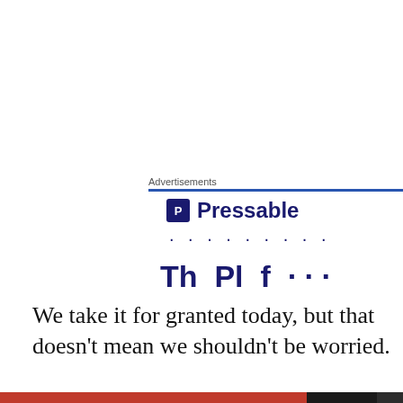Advertisements
[Figure (logo): Pressable logo with blue square icon containing letter P and text 'Pressable' in dark navy]
· · · · · · · · ·
Th  Pl  f  ...
We take it for granted today, but that doesn't mean we shouldn't be worried.
I have returned to the theme of surveillance to kick-start
Privacy & Cookies: This site uses cookies. By continuing to use this website, you agree to their use.
To find out more, including how to control cookies, see here: Cookie Policy